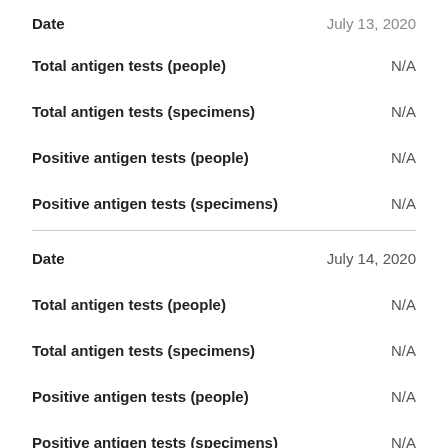Total antigen tests (people)   N/A
Total antigen tests (specimens)   N/A
Positive antigen tests (people)   N/A
Positive antigen tests (specimens)   N/A
Date   July 14, 2020
Total antigen tests (people)   N/A
Total antigen tests (specimens)   N/A
Positive antigen tests (people)   N/A
Positive antigen tests (specimens)   N/A